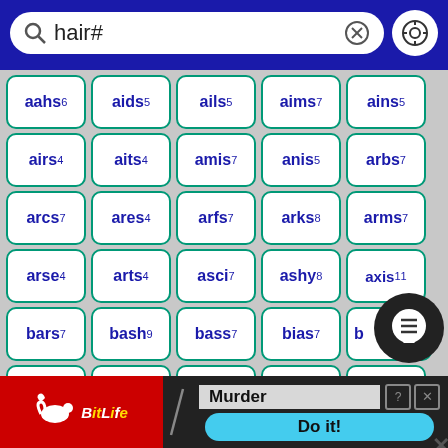hair#
aahs 6, aids 5, ails 5, aims 7, ains 5
airs 4, aits 4, amis 7, anis 5, arbs 7
arcs 7, ares 4, arfs 7, arks 8, arms 7
arse 4, arts 4, asci 7, ashy 8, axis 11
bars 7, bash 9, bass 7, bias 7, b...
bris 7, cars 7, cash 9, chis 9, cris 7
dahs 7, dais 5, dash 7, dish 7, diss 5
[Figure (screenshot): BitLife advertisement banner at bottom]